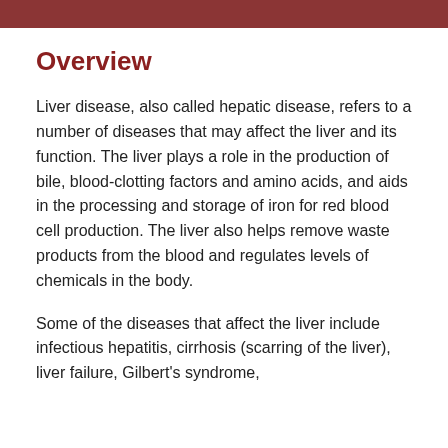Overview
Liver disease, also called hepatic disease, refers to a number of diseases that may affect the liver and its function. The liver plays a role in the production of bile, blood-clotting factors and amino acids, and aids in the processing and storage of iron for red blood cell production. The liver also helps remove waste products from the blood and regulates levels of chemicals in the body.
Some of the diseases that affect the liver include infectious hepatitis, cirrhosis (scarring of the liver), liver failure, Gilbert's syndrome,